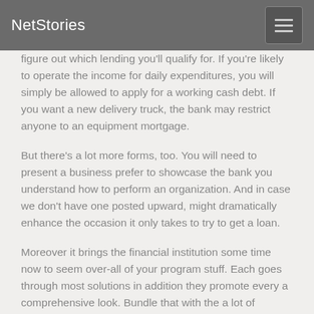NetStories
figure out which lending you'll qualify for. If you're likely to operate the income for daily expenditures, you will simply be allowed to apply for a working cash debt. If you want a new delivery truck, the bank may restrict anyone to an equipment mortgage.
But there's a lot more forms, too. You will need to present a business prefer to showcase the bank you understand how to perform an organization. And in case we don't have one posted upward, might dramatically enhance the occasion it only takes to try to get a loan.
Moreover it brings the financial institution some time now to seem over-all of your program stuff. Each goes through most solutions in addition they promote every a comprehensive look. Bundle that with the a lot of monetary forms you will need to send (which we'll reveal below) while bring a credit card applicatoin method that could take two months.